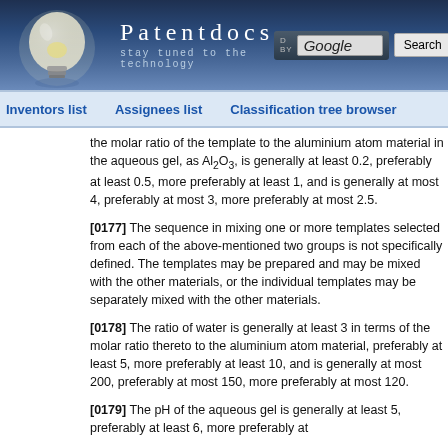Patentdocs — stay tuned to the technology
Inventors list | Assignees list | Classification tree browser
the molar ratio of the template to the aluminium atom material in the aqueous gel, as Al2O3, is generally at least 0.2, preferably at least 0.5, more preferably at least 1, and is generally at most 4, preferably at most 3, more preferably at most 2.5.
[0177] The sequence in mixing one or more templates selected from each of the above-mentioned two groups is not specifically defined. The templates may be prepared and may be mixed with the other materials, or the individual templates may be separately mixed with the other materials.
[0178] The ratio of water is generally at least 3 in terms of the molar ratio thereto to the aluminium atom material, preferably at least 5, more preferably at least 10, and is generally at most 200, preferably at most 150, more preferably at most 120.
[0179] The pH of the aqueous gel is generally at least 5, preferably at least 6, more preferably at